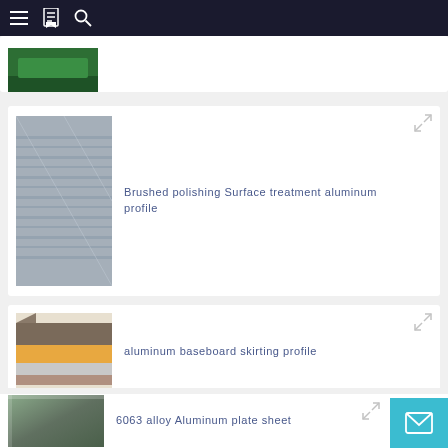Navigation bar with menu, bookmark, and search icons
[Figure (photo): Partial product card at top showing green product image]
[Figure (photo): Brushed polishing Surface treatment aluminum profile product image]
Brushed polishing Surface treatment aluminum profile
[Figure (photo): Interior decoration Aluminum LED linear anodized Profile product image]
Interior decoration Aluminum LED linear anodized Profile
[Figure (photo): aluminum baseboard skirting profile product image]
aluminum baseboard skirting profile
[Figure (photo): 6063 alloy Aluminum plate sheet product image]
6063 alloy Aluminum plate sheet